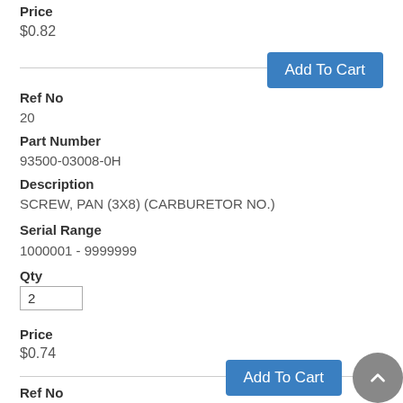Price
$0.82
Add To Cart
Ref No
20
Part Number
93500-03008-0H
Description
SCREW, PAN (3X8) (CARBURETOR NO.)
Serial Range
1000001 - 9999999
Qty
2
Price
$0.74
Add To Cart
Ref No